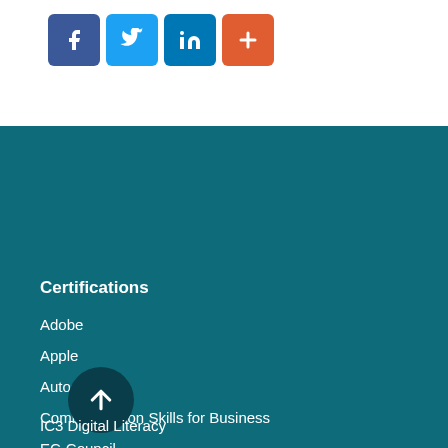[Figure (other): Social media share buttons: Facebook (blue), Twitter (light blue), LinkedIn (dark blue), and a red plus/more button]
Certifications
Adobe
Apple
Autodesk
Communication Skills for Business
EC-Council
Entrepreneurship and Small Business
IC3 Digital Literacy